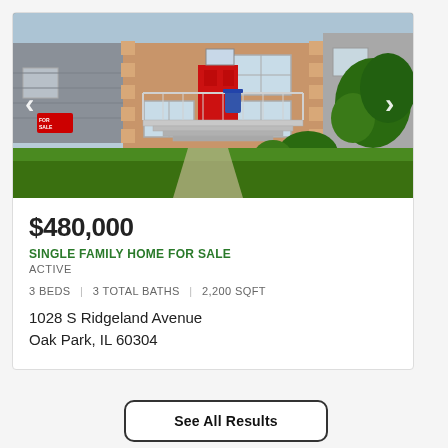[Figure (photo): Exterior photo of a single family home with red front door, tan/brown siding, white staircase railing, green landscaping and bushes. Navigation arrows on left and right sides. FOR SALE sign visible in lower left corner.]
$480,000
SINGLE FAMILY HOME FOR SALE
ACTIVE
3 BEDS | 3 TOTAL BATHS | 2,200 SQFT
1028 S Ridgeland Avenue
Oak Park, IL 60304
See All Results